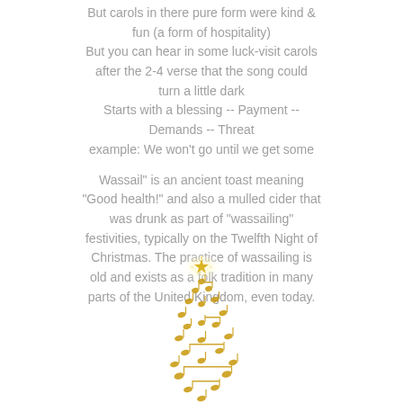But carols in there pure form were kind & fun (a form of hospitality) But you can hear in some luck-visit carols after the 2-4 verse that the song could turn a little dark Starts with a blessing -- Payment -- Demands -- Threat example: We won't go until we get some

Wassail" is an ancient toast meaning "Good health!" and also a mulled cider that was drunk as part of "wassailing" festivities, typically on the Twelfth Night of Christmas. The practice of wassailing is old and exists as a folk tradition in many parts of the United Kingdom, even today.
[Figure (illustration): A decorative golden Christmas tree made of musical notes arranged in a spiral/zigzag pattern, with a glowing star at the top.]